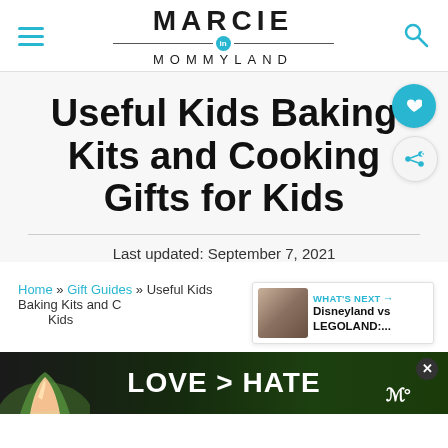MARCIE in MOMMYLAND
Useful Kids Baking Kits and Cooking Gifts for Kids
Last updated: September 7, 2021
Home » Gift Guides » Useful Kids Baking Kits and Cooking Gifts for Kids
[Figure (other): What's Next promotional widget showing thumbnail with text 'Disneyland vs LEGOLAND:...']
[Figure (other): Advertisement banner with text 'LOVE > HATE' on a dark green background with hands forming a heart shape]